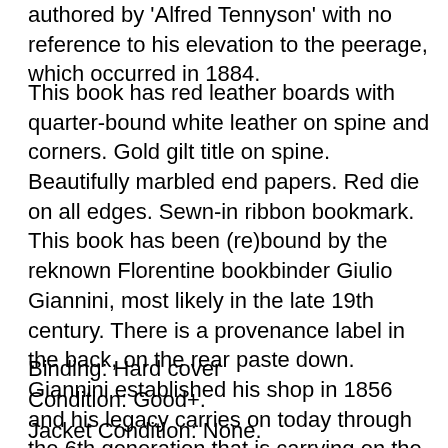authored by 'Alfred Tennyson' with no reference to his elevation to the peerage, which occurred in 1884.
This book has red leather boards with quarter-bound white leather on spine and corners. Gold gilt title on spine. Beautifully marbled end papers. Red die on all edges. Sewn-in ribbon bookmark. This book has been (re)bound by the reknown Florentine bookbinder Giulio Giannini, most likely in the late 19th century. There is a provenance label in the back, on the rear paste down. Giannini established his shop in 1856 and his legacy carries on today through the 6th generation that is carrying on the family tradition of fine book binding.
Binding: Hard cover
Condition: Good+.
Jacket Condition: None.